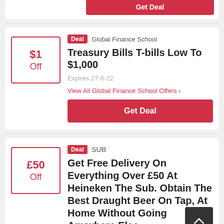[Figure (other): Partial top of a deal card showing a 'Get Deal' red button at the top right]
Deal  Global Finance School
Treasury Bills T-bills Low To $1,000
Expires 27-8-22
View All Global Finance School Offers >
Get Deal
Deal  SUB
Get Free Delivery On Everything Over £50 At Heineken The Sub. Obtain The Best Draught Beer On Tap, At Home Without Going Anywhere Else